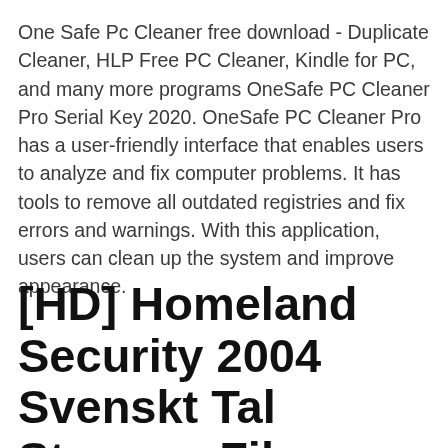One Safe Pc Cleaner free download - Duplicate Cleaner, HLP Free PC Cleaner, Kindle for PC, and many more programs OneSafe PC Cleaner Pro Serial Key 2020. OneSafe PC Cleaner Pro has a user-friendly interface that enables users to analyze and fix computer problems. It has tools to remove all outdated registries and fix errors and warnings. With this application, users can clean up the system and improve appearance.
[HD] Homeland Security 2004 Svenskt Tal Stream - Film Online